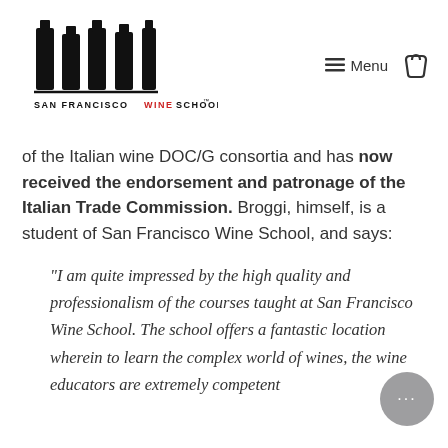[Figure (logo): San Francisco Wine School logo with wine bottle silhouettes and text]
of the Italian wine DOC/G consortia and has now received the endorsement and patronage of the Italian Trade Commission. Broggi, himself, is a student of San Francisco Wine School, and says:
"I am quite impressed by the high quality and professionalism of the courses taught at San Francisco Wine School. The school offers a fantastic location wherein to learn the complex world of wines, the wine educators are extremely competent